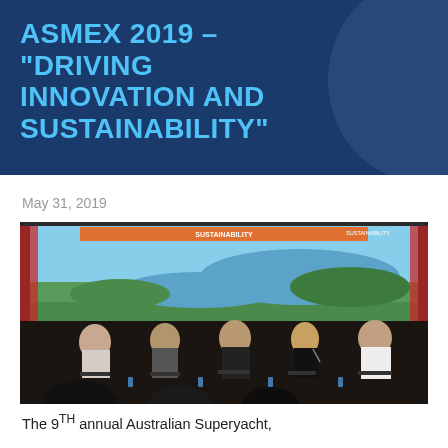ASMEX 2019 – "DRIVING INNOVATION AND SUSTAINABILITY"
May 31, 2019
[Figure (photo): Panel discussion at ASMEX 2019 event with five panelists seated on stage in front of a large screen showing an aerial marina image and SUSTAINABILITY banner. A woman in the centre holds a microphone.]
The 9TH annual Australian Superyacht,